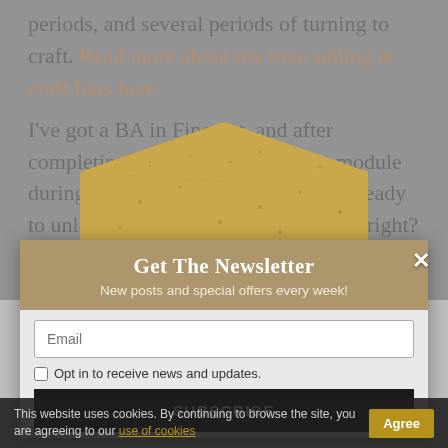periods, and several periods of turning to craft. Read more about my time selling at craft fairs here.
I've got a BA in Fine Art, and after completing a professional practice module during that degree, you'd think I'd be ready to unleash my art career on the world, right?
[Figure (illustration): Gold/tan envelope graphic used as newsletter modal decoration]
Get The Newsletter
New posts and special offers every week!
Well, life happens to all of us, and I did an MA and then decided to focus on getting qualified for a steady (art-related) job and knuckling down to saving for our house. Now, I have that part-time job, we have that house, and I'm turning my attention back to my art practice.
Email
Opt in to receive news and updates.
SUBSCRIBE
This website uses cookies. By continuing to browse the site, you are agreeing to our use of cookies
Agree